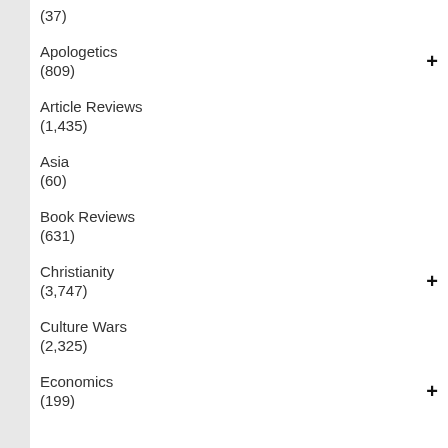(37)
Apologetics
(809)
Article Reviews
(1,435)
Asia
(60)
Book Reviews
(631)
Christianity
(3,747)
Culture Wars
(2,325)
Economics
(199)